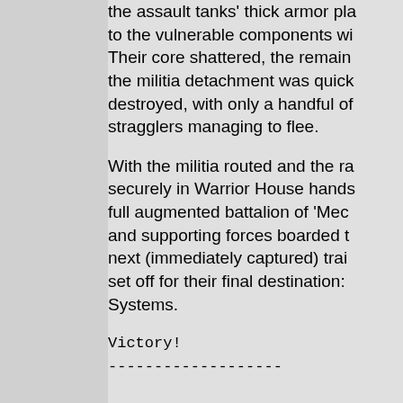the assault tanks' thick armor plating to the vulnerable components within. Their core shattered, the remaining militia detachment was quickly destroyed, with only a handful of stragglers managing to flee.
With the militia routed and the rail securely in Warrior House hands, a full augmented battalion of 'Mechs and supporting forces boarded the next (immediately captured) train and set off for their final destination: Systems.
Victory!
-------------------

Winner is: House Ma-Tsu Kai

House Ma-Tsu Kai: 13592 BV rem

Carbonis Militia: 0 BV remains